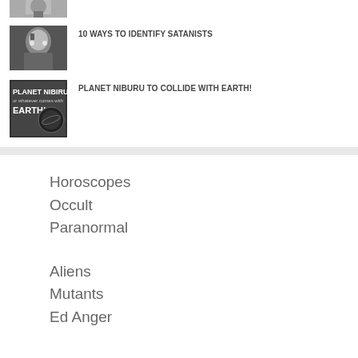[Figure (photo): Small thumbnail image at top, partially visible, dark tones]
[Figure (photo): Black and white photo of a person with dramatic makeup/lighting]
10 WAYS TO IDENTIFY SATANISTS
[Figure (photo): Dark image with text 'PLANET NIBIRU' and 'EARTH!' overlaid]
PLANET NIBURU TO COLLIDE WITH EARTH!
Horoscopes
Occult
Paranormal
Aliens
Mutants
Ed Anger